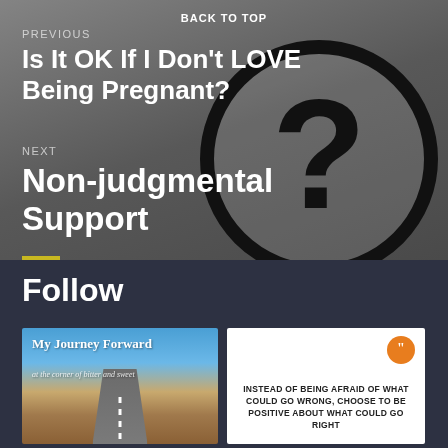BACK TO TOP
PREVIOUS
Is It OK If I Don't LOVE Being Pregnant?
NEXT
Non-judgmental Support
Follow
[Figure (photo): Book cover or blog header for 'My Journey Forward - at the corner of bitter and sweet' with a straight road stretching into the distance under a blue sky]
[Figure (infographic): White card with orange quotation mark icon and bold text: INSTEAD OF BEING AFRAID OF WHAT COULD GO WRONG, CHOOSE TO BE POSITIVE ABOUT WHAT COULD GO RIGHT]